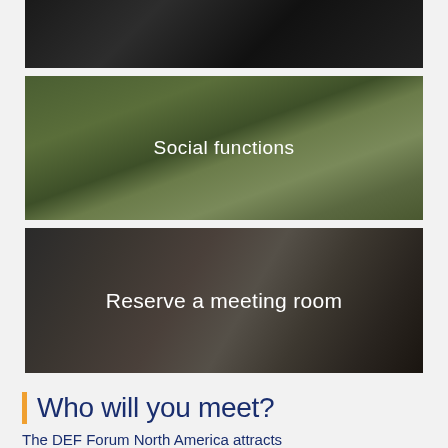[Figure (photo): Dark close-up photo of camera or mechanical equipment]
[Figure (photo): Golf club head against green foliage background with text 'Social functions']
[Figure (photo): Two people in a meeting/working setting with text 'Reserve a meeting room']
Who will you meet?
The DEF Forum North America attracts